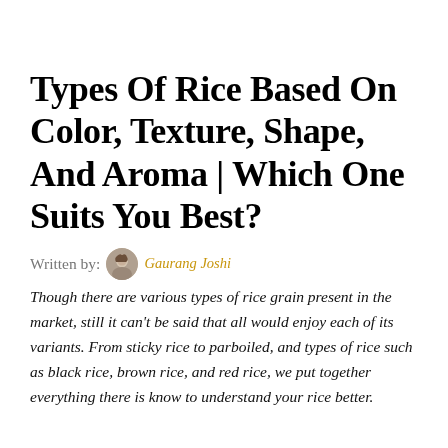Types Of Rice Based On Color, Texture, Shape, And Aroma | Which One Suits You Best?
Written by: Gaurang Joshi
Though there are various types of rice grain present in the market, still it can't be said that all would enjoy each of its variants. From sticky rice to parboiled, and types of rice such as black rice, brown rice, and red rice, we put together everything there is know to understand your rice better.